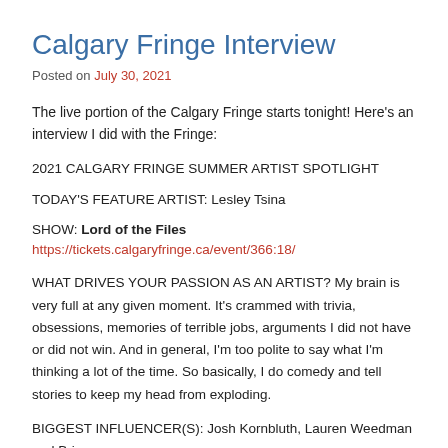Calgary Fringe Interview
Posted on July 30, 2021
The live portion of the Calgary Fringe starts tonight! Here's an interview I did with the Fringe:
2021 CALGARY FRINGE SUMMER ARTIST SPOTLIGHT
TODAY'S FEATURE ARTIST: Lesley Tsina
SHOW: Lord of the Files https://tickets.calgaryfringe.ca/event/366:18/
WHAT DRIVES YOUR PASSION AS AN ARTIST? My brain is very full at any given moment. It's crammed with trivia, obsessions, memories of terrible jobs, arguments I did not have or did not win. And in general, I'm too polite to say what I'm thinking a lot of the time. So basically, I do comedy and tell stories to keep my head from exploding.
BIGGEST INFLUENCER(S): Josh Kornbluth, Lauren Weedman and Brian